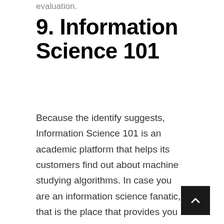evaluation.
9. Information Science 101
Because the identify suggests, Information Science 101 is an academic platform that helps its customers find out about machine studying algorithms. In case you are an information science fanatic, that is the place that provides you with a newbie's information, the place you may be taught and follow. The app supplies high-quality assets for studying completely different ML algorithms reminiscent of SVM, KNN, linear regression, and lots of extra. It's also possible to use it to develop